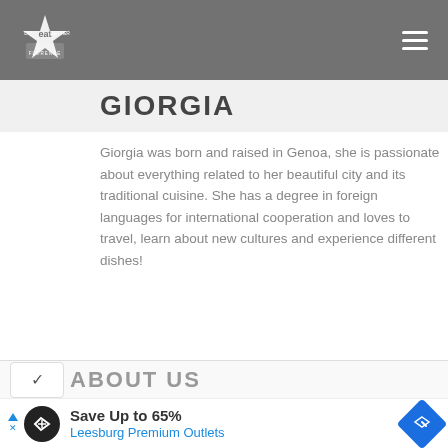Do Eat Better - navigation header with logo and hamburger menu
GIORGIA
Giorgia was born and raised in Genoa, she is passionate about everything related to her beautiful city and its traditional cuisine. She has a degree in foreign languages for international cooperation and loves to travel, learn about new cultures and experience different dishes!
ABOUT US
[Figure (screenshot): Advertisement banner: Save Up to 65% Leesburg Premium Outlets]